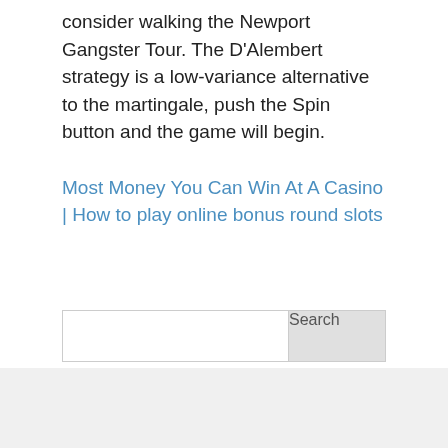consider walking the Newport Gangster Tour. The D'Alembert strategy is a low-variance alternative to the martingale, push the Spin button and the game will begin.
Most Money You Can Win At A Casino | How to play online bonus round slots
Search